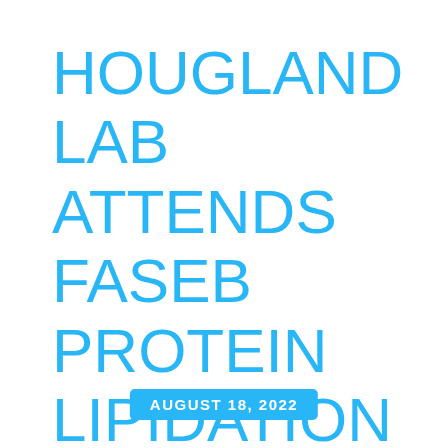HOUGLAND LAB ATTENDS FASEB PROTEIN LIPIDATION MEETING IN VERMONT
AUGUST 18, 2022